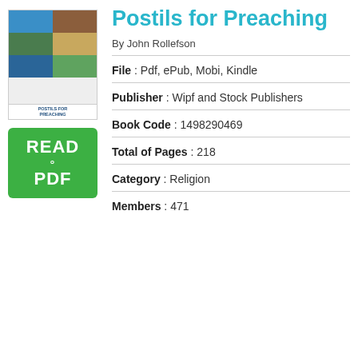[Figure (illustration): Book cover thumbnail for 'Postils for Preaching' with colorful grid of nature images]
[Figure (other): Green button labeled READ PDF]
Postils for Preaching
By John Rollefson
File : Pdf, ePub, Mobi, Kindle
Publisher : Wipf and Stock Publishers
Book Code : 1498290469
Total of Pages : 218
Category : Religion
Members : 471